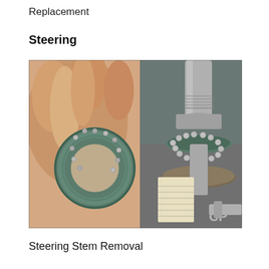Replacement
Steering
[Figure (photo): A hand holding a greased circular ball bearing race (teal/green colored ring), displayed next to a motorcycle steering stem assembly with visible ball bearings seated in the bearing cup, showing the steering head components during a stem removal or replacement procedure.]
Steering Stem Removal